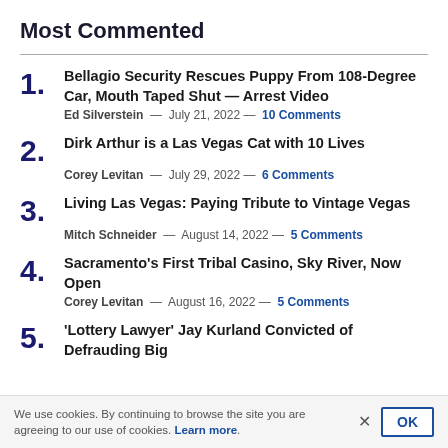Most Commented
1. Bellagio Security Rescues Puppy From 108-Degree Car, Mouth Taped Shut — Arrest Video
Ed Silverstein — July 21, 2022 — 10 Comments
2. Dirk Arthur is a Las Vegas Cat with 10 Lives
Corey Levitan — July 29, 2022 — 6 Comments
3. Living Las Vegas: Paying Tribute to Vintage Vegas
Mitch Schneider — August 14, 2022 — 5 Comments
4. Sacramento's First Tribal Casino, Sky River, Now Open
Corey Levitan — August 16, 2022 — 5 Comments
5. 'Lottery Lawyer' Jay Kurland Convicted of Defrauding Big Jackpot Winners
We use cookies. By continuing to browse the site you are agreeing to our use of cookies. Learn more.